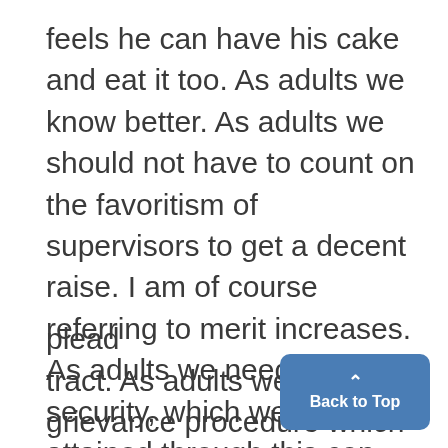feels he can have his cake and eat it too. As adults we know better. As adults we should not have to count on the favoritism of supervisors to get a decent raise. I am of course referring to merit increases. As adults we need job security, which we have attained through this con-
plead
tract. As adults we need a grievance procedure which would give us a chance to air